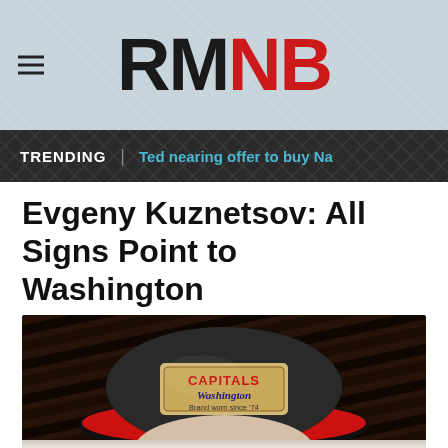RMNB
TRENDING | Ted nearing offer to buy Na
Evgeny Kuznetsov: All Signs Point to Washington
[Figure (photo): Person wearing a Washington Capitals hat with text 'CAPITALS Washington Brand worn since 74', photographed from below showing the back brim of the cap, dark wood-panel background]